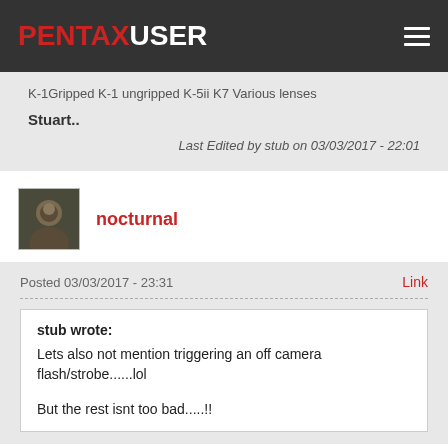PENTAXUSER
K-1 Gripped K-1 ungripped K-5ii K7 Various lenses
Stuart..
Last Edited by stub on 03/03/2017 - 22:01
[Figure (photo): Avatar photo of user nocturnal]
nocturnal
Posted 03/03/2017 - 23:31
Link
stub wrote:
Lets also not mention triggering an off camera flash/strobe......lol

But the rest isnt too bad.....!!
Why? No built in flash controller?